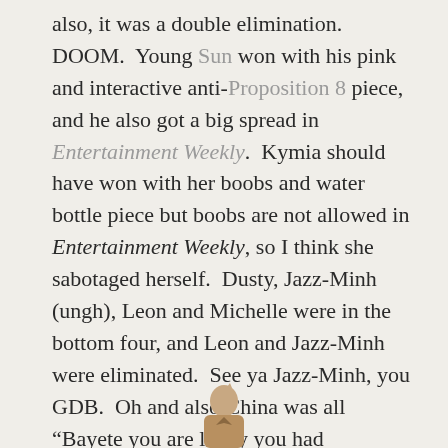also, it was a double elimination.  DOOM.  Young Sun won with his pink and interactive anti-Proposition 8 piece, and he also got a big spread in Entertainment Weekly.  Kymia should have won with her boobs and water bottle piece but boobs are not allowed in Entertainment Weekly, so I think she sabotaged herself.  Dusty, Jazz-Minh (ungh), Leon and Michelle were in the bottom four, and Leon and Jazz-Minh were eliminated.  See ya Jazz-Minh, you GDB.  Oh and also China was all “Bayete you are lucky you had elimination this week” which was bitchy and hilarious!
[Figure (photo): Partial photo of a person visible at the bottom of the page, cropped]